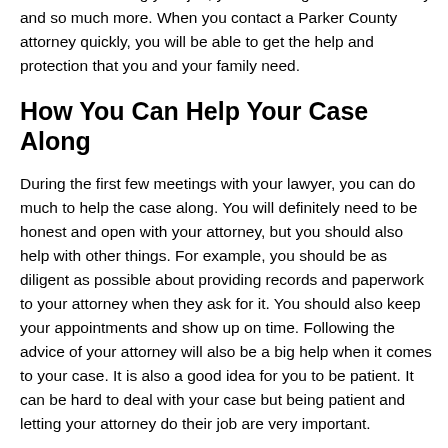entire life including your job, your standing in the community and so much more. When you contact a Parker County attorney quickly, you will be able to get the help and protection that you and your family need.
How You Can Help Your Case Along
During the first few meetings with your lawyer, you can do much to help the case along. You will definitely need to be honest and open with your attorney, but you should also help with other things. For example, you should be as diligent as possible about providing records and paperwork to your attorney when they ask for it. You should also keep your appointments and show up on time. Following the advice of your attorney will also be a big help when it comes to your case. It is also a good idea for you to be patient. It can be hard to deal with your case but being patient and letting your attorney do their job are very important.
Contact a Criminal Lawyer Now